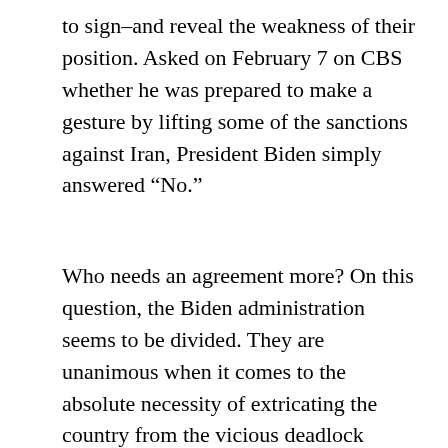to sign–and reveal the weakness of their position. Asked on February 7 on CBS whether he was prepared to make a gesture by lifting some of the sanctions against Iran, President Biden simply answered “No.”
Who needs an agreement more? On this question, the Biden administration seems to be divided. They are unanimous when it comes to the absolute necessity of extricating the country from the vicious deadlock where Trump has left it. But at what cost? On the one hand, there are those who consider that Iran is in a very difficult position, above all economically,